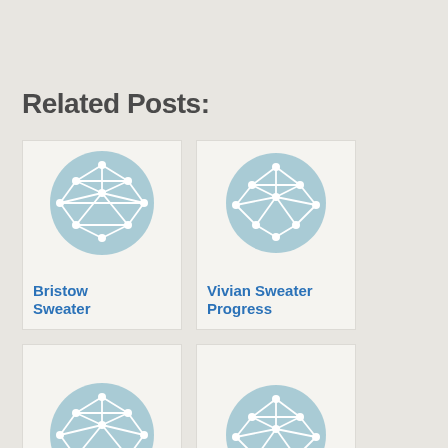Related Posts:
[Figure (illustration): Card with teal circle containing white network/mesh graph icon — Bristow Sweater]
Bristow Sweater
[Figure (illustration): Card with teal circle containing white network/mesh graph icon — Vivian Sweater Progress]
Vivian Sweater Progress
[Figure (illustration): Card with teal circle containing white network/mesh graph icon — bottom left post (partially visible)]
[Figure (illustration): Card with teal circle containing white network/mesh graph icon — bottom right post (partially visible)]